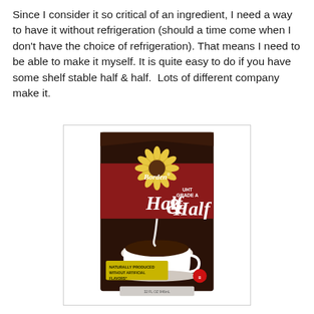Since I consider it so critical of an ingredient, I need a way to have it without refrigeration (should a time come when I don't have the choice of refrigeration). That means I need to be able to make it myself. It is quite easy to do if you have some shelf stable half & half.  Lots of different company make it.
[Figure (photo): Borden UHT Grade A Half & Half carton (dark brown/maroon carton with Borden logo featuring a sunflower, showing a cup of coffee being poured with half & half, and text 'Naturally Produced Without Artificial Flavors' at bottom)]